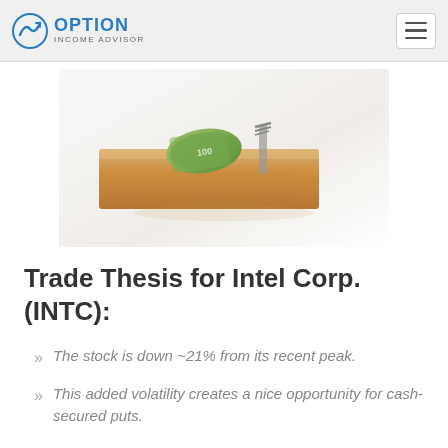OPTION INCOME ADVISOR
[Figure (photo): Photo of rolled US dollar bills on a wooden mousetrap, white background]
Trade Thesis for Intel Corp. (INTC):
The stock is down ~21% from its recent peak.
This added volatility creates a nice opportunity for cash-secured puts.